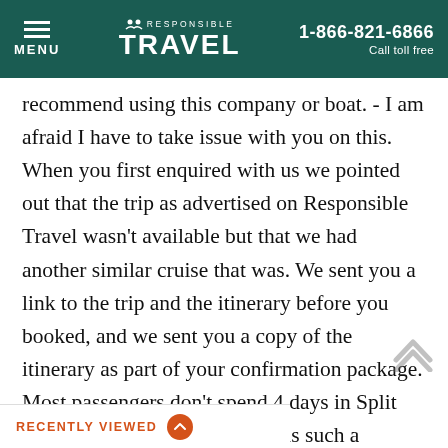MENU | RESPONSIBLE TRAVEL | 1-866-821-6866 Call toll free
recommend using this company or boat. - I am afraid I have to take issue with you on this. When you first enquired with us we pointed out that the trip as advertised on Responsible Travel wasn't available but that we had another similar cruise that was. We sent you a link to the trip and the itinerary before you booked, and we sent you a copy of the itinerary as part of your confirmation package. Most passengers don't spend 4 days in Split prior to the cruise and as Split is such a fantastic place the vessel returns on the Friday afternoon to allow passengers on a 1 week holiday to spend some time in Split. The vessel also spends Split to allow passengers on day 1 to join the
RECENTLY VIEWED